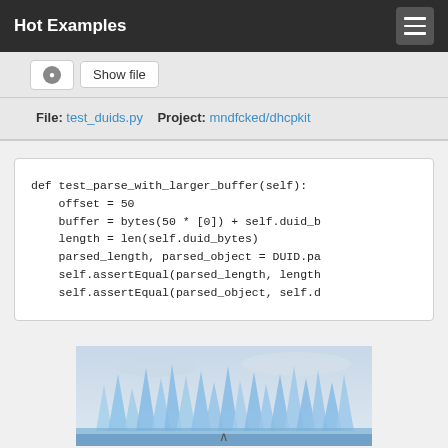Hot Examples
File: test_duids.py   Project: mndfcked/dhcpkit
def test_parse_with_larger_buffer(self):
    offset = 50
    buffer = bytes(50 * [0]) + self.duid_b
    length = len(self.duid_bytes)
    parsed_length, parsed_object = DUID.pa
    self.assertEqual(parsed_length, length
    self.assertEqual(parsed_object, self.d
[Figure (photo): Photograph of glacier ice formations with blue-white ice spikes against a light grey sky]